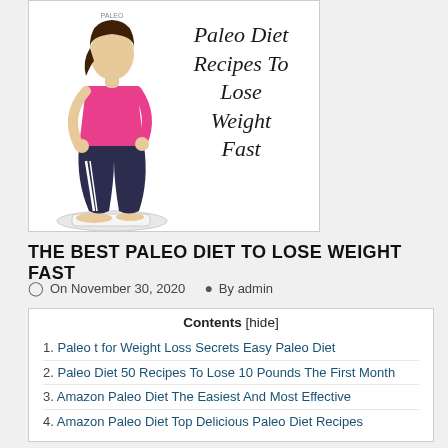[Figure (illustration): Book cover showing a woman squatting on a weighing scale with italic text 'Paleo Diet Recipes To Lose Weight Fast']
THE BEST PALEO DIET TO LOSE WEIGHT FAST
On November 30, 2020   By admin
| Contents [hide] |
| --- |
| 1. Paleo t for Weight Loss Secrets Easy Paleo Diet |
| 2. Paleo Diet 50 Recipes To Lose 10 Pounds The First Month |
| 3. Amazon Paleo Diet The Easiest And Most Effective |
| 4. Amazon Paleo Diet Top Delicious Paleo Diet Recipes |